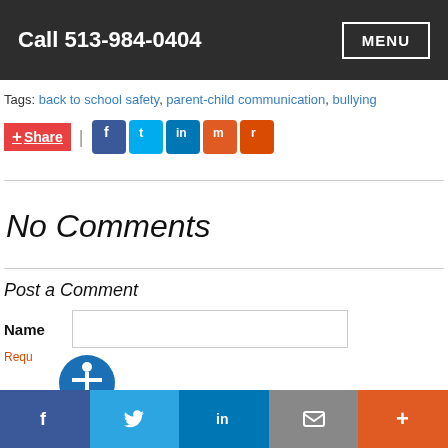Call 513-984-0404 | MENU
Tags: back to school safety, parent-child communication, bullying
+ Share | [Facebook] [Twitter] [LinkedIn] [Mix] [Reddit]
No Comments
Post a Comment
Name [input field] Required
[Facebook] [Twitter] [LinkedIn] [Email] [More +]